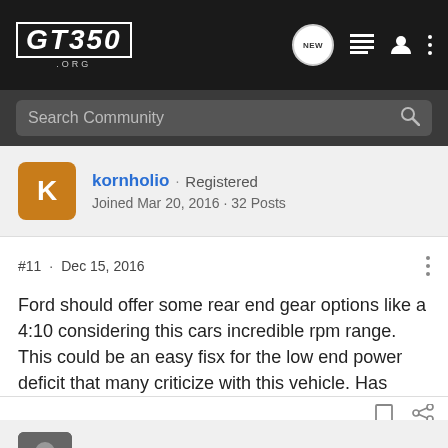GT350.ORG — Search Community
kornholio · Registered
Joined Mar 20, 2016 · 32 Posts
#11 · Dec 15, 2016
Ford should offer some rear end gear options like a 4:10 considering this cars incredible rpm range. This could be an easy fisx for the low end power deficit that many criticize with this vehicle. Has anyone done an aftermarket gear swap?
barstowpo · Registered 🇺🇸